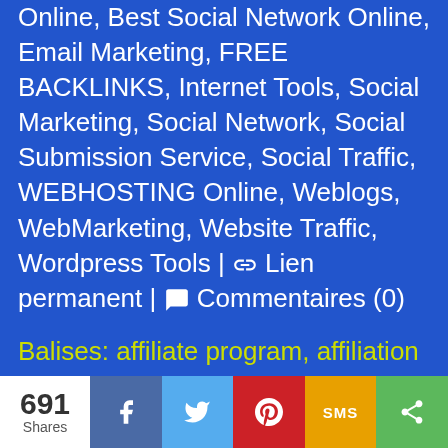Online, Best Social Network Online, Email Marketing, FREE BACKLINKS, Internet Tools, Social Marketing, Social Network, Social Submission Service, Social Traffic, WEBHOSTING Online, Weblogs, WebMarketing, Website Traffic, Wordpress Tools | 🔗 Lien permanent | 💬 Commentaires (0)
Balises: affiliate program, affiliation business, Become a webmaster and earn money, casino affiliate program, email marketing, entrepreneurship online, Free Website Promotion, Freelance,
691 Shares | Facebook | Twitter | Pinterest | SMS | Share